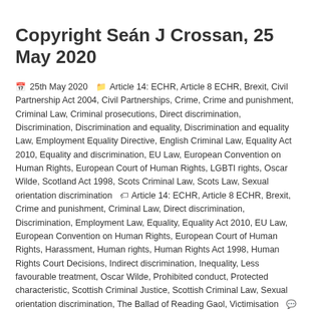Copyright Seán J Crossan, 25 May 2020
25th May 2020  Article 14: ECHR, Article 8 ECHR, Brexit, Civil Partnership Act 2004, Civil Partnerships, Crime, Crime and punishment, Criminal Law, Criminal prosecutions, Direct discrimination, Discrimination, Discrimination and equality, Discrimination and equality Law, Employment Equality Directive, English Criminal Law, Equality Act 2010, Equality and discrimination, EU Law, European Convention on Human Rights, European Court of Human Rights, LGBTI rights, Oscar Wilde, Scotland Act 1998, Scots Criminal Law, Scots Law, Sexual orientation discrimination  Article 14: ECHR, Article 8 ECHR, Brexit, Crime and punishment, Criminal Law, Direct discrimination, Discrimination, Employment Law, Equality, Equality Act 2010, EU Law, European Convention on Human Rights, European Court of Human Rights, Harassment, Human rights, Human Rights Act 1998, Human Rights Court Decisions, Indirect discrimination, Inequality, Less favourable treatment, Oscar Wilde, Prohibited conduct, Protected characteristic, Scottish Criminal Justice, Scottish Criminal Law, Sexual orientation discrimination, The Ballad of Reading Gaol, Victimisation  Leave a comment